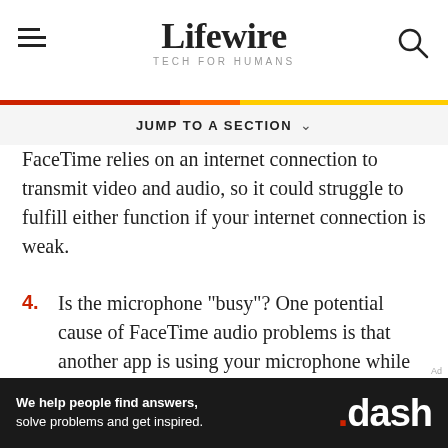Lifewire TECH FOR HUMANS
FaceTime relies on an internet connection to transmit video and audio, so it could struggle to fulfill either function if your internet connection is weak.
4. Is the microphone "busy"? One potential cause of FaceTime audio problems is that another app is using your microphone while you're trying to make a call. For example, specific messaging and music apps require
Ad
[Figure (other): Advertisement banner: 'We help people find answers, solve problems and get inspired.' with .dash logo]